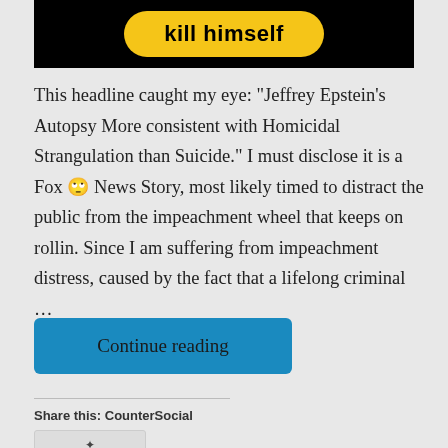[Figure (photo): Partial image showing a yellow pill-shaped button with bold text 'kill himself' on a black background]
This headline caught my eye: "Jeffrey Epstein's Autopsy More consistent with Homicidal Strangulation than Suicide." I must disclose it is a Fox 🙄 News Story, most likely timed to distract the public from the impeachment wheel that keeps on rollin. Since I am suffering from impeachment distress, caused by the fact that a lifelong criminal …
Continue reading
Share this: CounterSocial